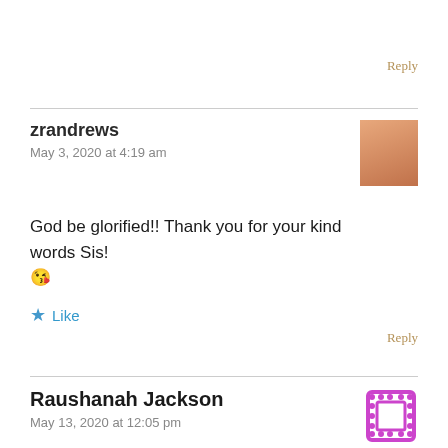Reply
zrandrews
May 3, 2020 at 4:19 am
[Figure (photo): Profile photo of zrandrews, showing a person in orange/salmon colored outfit]
God be glorified!! Thank you for your kind words Sis! 😘
★ Like
Reply
Raushanah Jackson
May 13, 2020 at 12:05 pm
[Figure (logo): Purple/magenta film reel or media icon with dotted border]